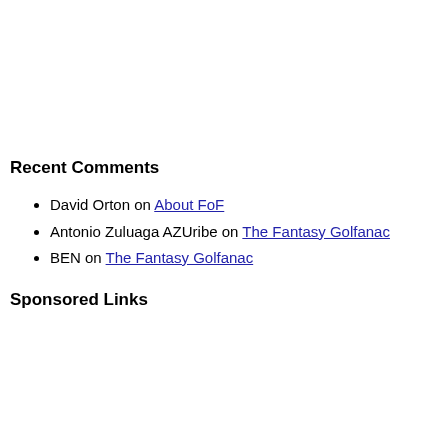Recent Comments
David Orton on About FoF
Antonio Zuluaga AZUribe on The Fantasy Golfanac
BEN on The Fantasy Golfanac
Sponsored Links